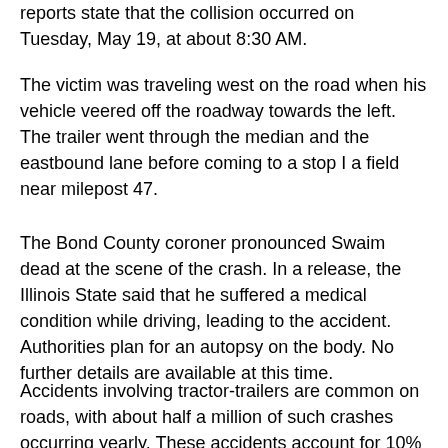reports state that the collision occurred on Tuesday, May 19, at about 8:30 AM.
The victim was traveling west on the road when his vehicle veered off the roadway towards the left. The trailer went through the median and the eastbound lane before coming to a stop I a field near milepost 47.
The Bond County coroner pronounced Swaim dead at the scene of the crash. In a release, the Illinois State said that he suffered a medical condition while driving, leading to the accident. Authorities plan for an autopsy on the body. No further details are available at this time.
Accidents involving tractor-trailers are common on roads, with about half a million of such crashes occurring yearly. These accidents account for 10%